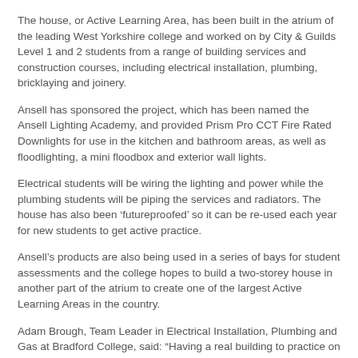The house, or Active Learning Area, has been built in the atrium of the leading West Yorkshire college and worked on by City & Guilds Level 1 and 2 students from a range of building services and construction courses, including electrical installation, plumbing, bricklaying and joinery.
Ansell has sponsored the project, which has been named the Ansell Lighting Academy, and provided Prism Pro CCT Fire Rated Downlights for use in the kitchen and bathroom areas, as well as floodlighting, a mini floodbox and exterior wall lights.
Electrical students will be wiring the lighting and power while the plumbing students will be piping the services and radiators. The house has also been ‘futureproofed’ so it can be re-used each year for new students to get active practice.
Ansell’s products are also being used in a series of bays for student assessments and the college hopes to build a two-storey house in another part of the atrium to create one of the largest Active Learning Areas in the country.
Adam Brough, Team Leader in Electrical Installation, Plumbing and Gas at Bradford College, said: “Having a real building to practice on is invaluable for our students – instead of their practical work being restricted to boards.